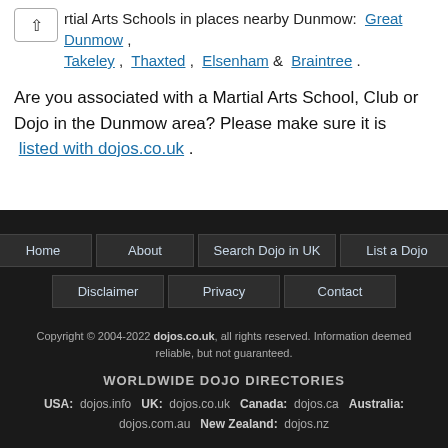rtial Arts Schools in places nearby Dunmow: Great Dunmow , Takeley , Thaxted , Elsenham & Braintree .
Are you associated with a Martial Arts School, Club or Dojo in the Dunmow area? Please make sure it is listed with dojos.co.uk .
Home | About | Search Dojo in UK | List a Dojo | Disclaimer | Privacy | Contact
Copyright © 2004-2022 dojos.co.uk, all rights reserved. Information deemed reliable, but not guaranteed.
WORLDWIDE DOJO DIRECTORIES
USA: dojos.info  UK: dojos.co.uk  Canada: dojos.ca  Australia: dojos.com.au  New Zealand: dojos.nz